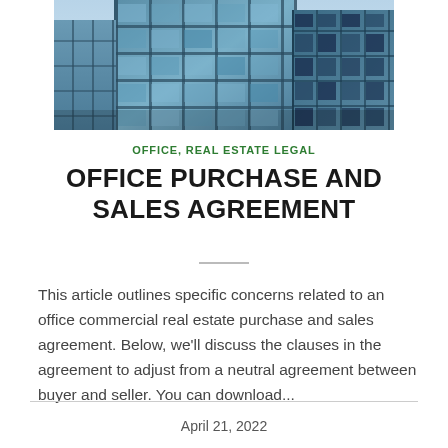[Figure (photo): Upward-angle photograph of a modern glass office building exterior showing blue-tinted glass windows and steel framing]
OFFICE, REAL ESTATE LEGAL
OFFICE PURCHASE AND SALES AGREEMENT
This article outlines specific concerns related to an office commercial real estate purchase and sales agreement. Below, we'll discuss the clauses in the agreement to adjust from a neutral agreement between buyer and seller. You can download...
April 21, 2022